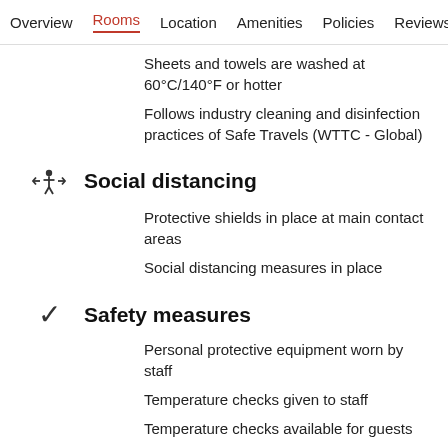Overview  Rooms  Location  Amenities  Policies  Reviews
Sheets and towels are washed at 60°C/140°F or hotter
Follows industry cleaning and disinfection practices of Safe Travels (WTTC - Global)
Social distancing
Protective shields in place at main contact areas
Social distancing measures in place
Safety measures
Personal protective equipment worn by staff
Temperature checks given to staff
Temperature checks available for guests
This information is provided by our partners.